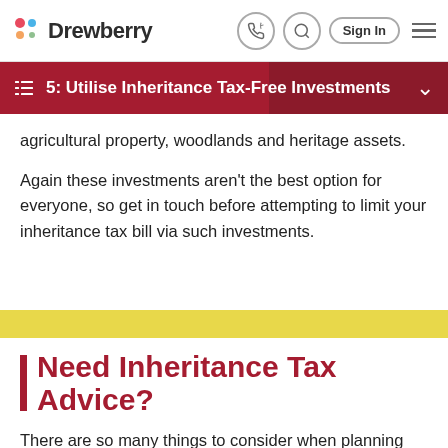Drewberry
5: Utilise Inheritance Tax-Free Investments
agricultural property, woodlands and heritage assets.
Again these investments aren't the best option for everyone, so get in touch before attempting to limit your inheritance tax bill via such investments.
Need Inheritance Tax Advice?
There are so many things to consider when planning how you are going to pass your wealth from one generation to the next